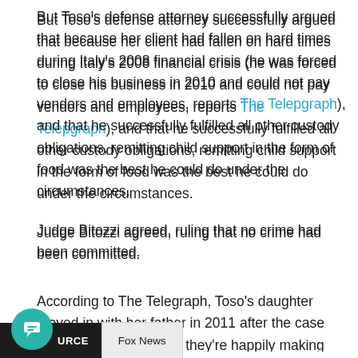But Toso's defense attorney successfully argued that because her client had fallen on hard times during Italy's 2008 financial crisis (he was forced to close his business in 2010 and could not pay vendors and employees, reports The Telepgraph), and that he successfully fulfilled all other custody obligations, remitting child support in the form of food was the best he could do under the circumstances.
Judge Bitozzi agreed, ruling that no crime had been committed.
According to The Telegraph, Toso's daughter moved in with her father in 2011 after the case was closed.  Let's hope they're happily making pizza together now.
SOURCE  Fox News